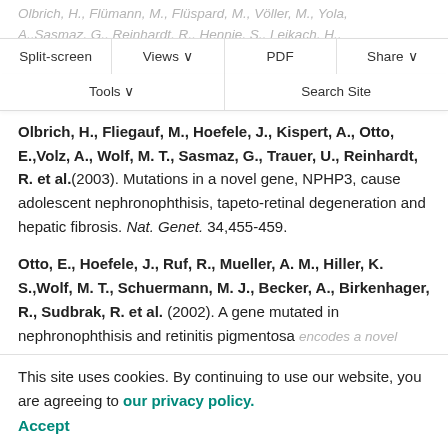Olbrich, H., Fliegauf, M., Hoefele, J., Kispert, A., Otto, E.,Volz, A., Wolf, M. T., Sasmaz, G., Trauer, U., Reinhardt, R. et al.(2003). Mutations in a novel gene, NPHP3, cause adolescent nephronophthisis, tapeto-retinal degeneration and hepatic fibrosis. Nat. Genet. 34,455-459.
Otto, E., Hoefele, J., Ruf, R., Mueller, A. M., Hiller, K. S.,Wolf, M. T., Schuermann, M. J., Becker, A., Birkenhager, R., Sudbrak, R. et al. (2002). A gene mutated in nephronophthisis and retinitis pigmentosa encodes a novel protein, nephroretinin, conserved in evolution. Am. J. Hum. Genet. 71,1161-1167.
This site uses cookies. By continuing to use our website, you are agreeing to our privacy policy. Accept